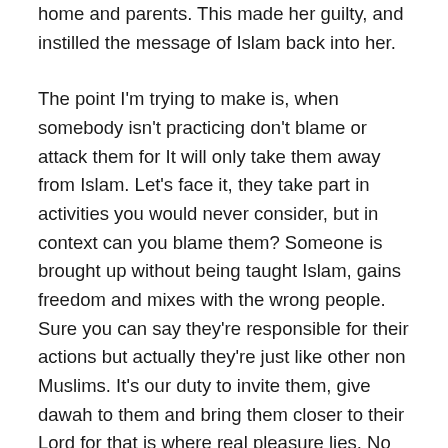home and parents. This made her guilty, and instilled the message of Islam back into her.
The point I'm trying to make is, when somebody isn't practicing don't blame or attack them for It will only take them away from Islam. Let's face it, they take part in activities you would never consider, but in context can you blame them? Someone is brought up without being taught Islam, gains freedom and mixes with the wrong people. Sure you can say they're responsible for their actions but actually they're just like other non Muslims. It's our duty to invite them, give dawah to them and bring them closer to their Lord for that is where real pleasure lies. No haram activity can give you the satisfaction and pleasure of being close to the deen.